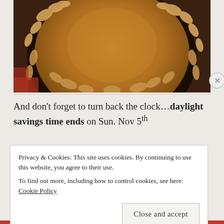[Figure (photo): Close-up photo of a pumpkin pie decorated with leaf-shaped pastry cutouts around the edge, in a dark pie dish on a red surface.]
And don't forget to turn back the clock…daylight savings time ends on Sun. Nov 5th
Privacy & Cookies: This site uses cookies. By continuing to use this website, you agree to their use.
To find out more, including how to control cookies, see here: Cookie Policy
Close and accept